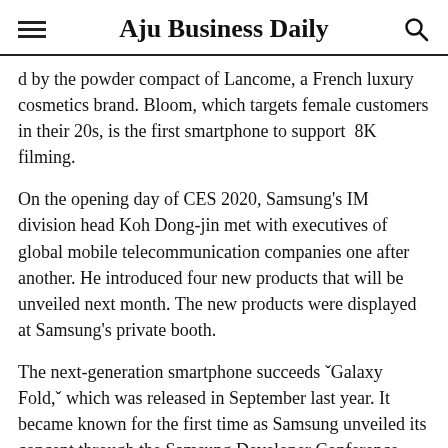Aju Business Daily
d by the powder compact of Lancome, a French luxury cosmetics brand. Bloom, which targets female customers in their 20s, is the first smartphone to support  8K filming.
On the opening day of CES 2020, Samsung's IM division head Koh Dong-jin met with executives of global mobile telecommunication companies one after another. He introduced four new products that will be unveiled next month. The new products were displayed at Samsung's private booth.
The next-generation smartphone succeeds ˇGalaxy Fold,ˇ which was released in September last year. It became known for the first time as Samsung unveiled its concept through the Samsung Developer Conference. Unlike Galaxy Fold, Galaxy Bloom can be folded up and down around the ho